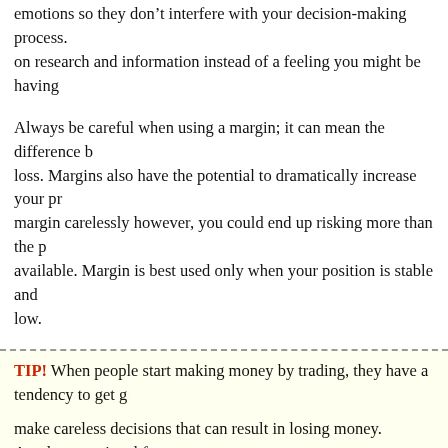emotions so they don't interfere with your decision-making process. on research and information instead of a feeling you might be having
Always be careful when using a margin; it can mean the difference between a profit and a loss. Margins also have the potential to dramatically increase your profits. If you use a margin carelessly however, you could end up risking more than the profits potentially available. Margin is best used only when your position is stable and the risk of a loss is low.
TIP! When people start making money by trading, they have a tendency to get greedy and make careless decisions that can result in losing money. Another emotional factor that affects decision making is panic, which leads to more poor trading decisions.
Stick to your set goals. When approaching Forex as a new investor, realize that you must be goal-oriented and maintain a predetermined allotment of time. Have some allowance for mistakes because there will definitely be some mistakes made, especially at the beginning. You should also figure out how much time you can devote to trading, inc